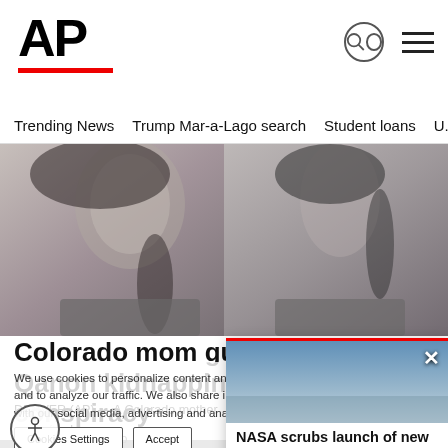AP
Trending News · Trump Mar-a-Lago search · Student loans · U.S.
[Figure (photo): Mugshot-style photo showing front and side profile of a woman with dark hair in gray clothing]
Colorado mom guilty of Qanon kidnapping conspiracy
DENVER (AP) — A Colorado mother ... her son from foster care after he...
We use cookies to personalize content and ads, to provide social media features and to analyze our traffic. We also share information about your use of our site with our social media, advertising and analytics partners. Privacy Policy
[Figure (screenshot): Video popup showing NASA scrubs launch of new moon rocket after engine issue, with sky background thumbnail]
NASA scrubs launch of new mo... rocket after engin...